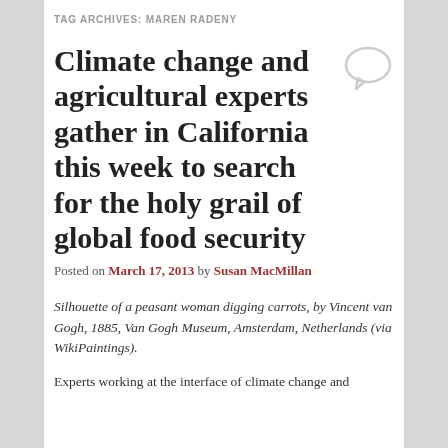TAG ARCHIVES: MAREN RADENY
Climate change and agricultural experts gather in California this week to search for the holy grail of global food security
Posted on March 17, 2013 by Susan MacMillan
Silhouette of a peasant woman digging carrots, by Vincent van Gogh, 1885, Van Gogh Museum, Amsterdam, Netherlands (via WikiPaintings).
Experts working at the interface of climate change and